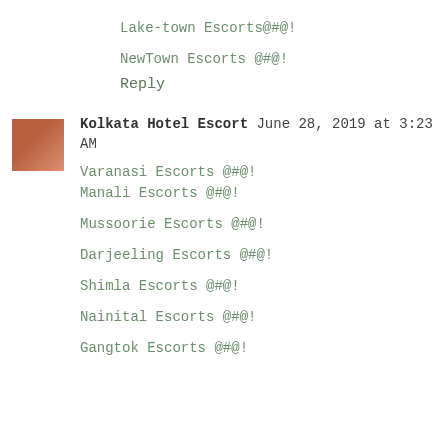Lake-town Escorts@#@!
NewTown Escorts @#@!
Reply
Kolkata Hotel Escort June 28, 2019 at 3:23 AM
Varanasi Escorts @#@!
Manali Escorts @#@!
Mussoorie Escorts @#@!
Darjeeling Escorts @#@!
Shimla Escorts @#@!
Nainital Escorts @#@!
Gangtok Escorts @#@!